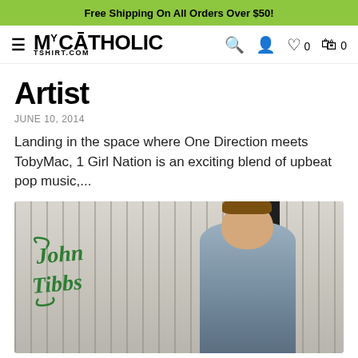Free Shipping On All Orders Over $50!
My Catholic TShirt.com — navigation bar
Artist
JUNE 10, 2014
Landing in the space where One Direction meets TobyMac, 1 Girl Nation is an exciting blend of upbeat pop music,...
[Figure (photo): Photo of John Tibbs standing in front of a weathered barn wall, with cursive 'John Tibbs' text in green overlay on the left side of the image.]